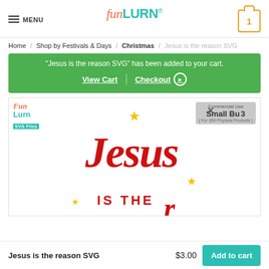MENU | funLURN® | Cart: 1
Home / Shop by Festivals & Days / Christmas / Jesus is the reason SVG
"Jesus is the reason SVG" has been added to your cart. View Cart | Checkout
[Figure (illustration): Product image of 'Jesus is the reason SVG' design showing red decorative script text with yellow stars, with FunLurn SVG Files badge and Commercial Small Business license badge overlay]
Jesus is the reason SVG   $3.00   Add to cart